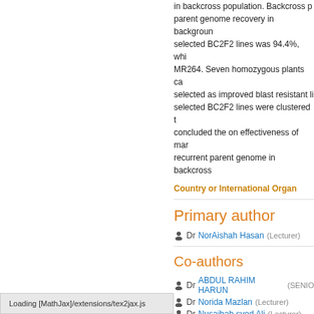in backcross population. Backcross p... parent genome recovery in background... selected BC2F2 lines was 94.4%, whi... MR264. Seven homozygous plants ca... selected as improved blast resistant li... selected BC2F2 lines were clustered t... concluded the on effectiveness of mar... recurrent parent genome in backcross
Country or International Organ
Primary author
Dr NorAishah Hasan (Lecturer)
Co-authors
Dr ABDUL RAHIM HARUN (SENIO
Dr Norida Mazlan (Lecturer)
Dr Nusaibah syed Ali (Lecturer)
Prof. Rafii Mohd Yusoff (Lecturer)
Dr Shamsiah Abdullah (Lecturer)
Loading [MathJax]/extensions/tex2jax.js